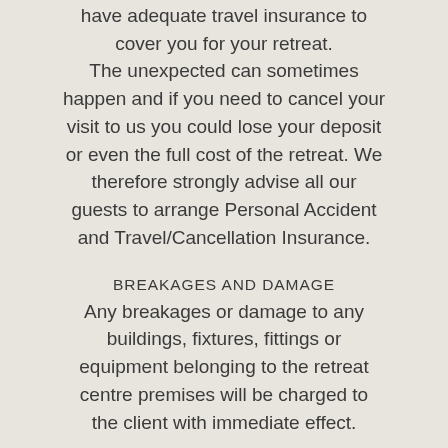have adequate travel insurance to cover you for your retreat. The unexpected can sometimes happen and if you need to cancel your visit to us you could lose your deposit or even the full cost of the retreat. We therefore strongly advise all our guests to arrange Personal Accident and Travel/Cancellation Insurance.
BREAKAGES AND DAMAGE
Any breakages or damage to any buildings, fixtures, fittings or equipment belonging to the retreat centre premises will be charged to the client with immediate effect.
RETREAT CHANGES
Ami Patel/Ami Patel Wellbeing reserves the right to change the schedule on any retreat at any given time.